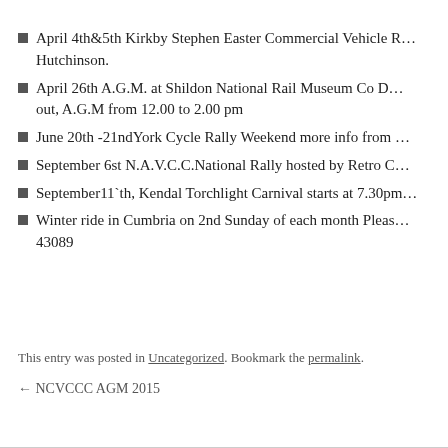April 4th&5th  Kirkby Stephen Easter Commercial Vehicle … Hutchinson.
April  26th A.G.M. at  Shildon National Rail Museum  Co D… out,    A.G.M   from 12.00 to 2.00 pm
June 20th -21ndYork Cycle Rally Weekend more info from …
September 6st N.A.V.C.C.National Rally hosted by  Retro C…
September11`th, Kendal Torchlight Carnival starts at 7.30pm…
Winter ride in Cumbria on 2nd Sunday of each month Please… 43089
This entry was posted in Uncategorized. Bookmark the permalink.
← NCVCCC AGM 2015